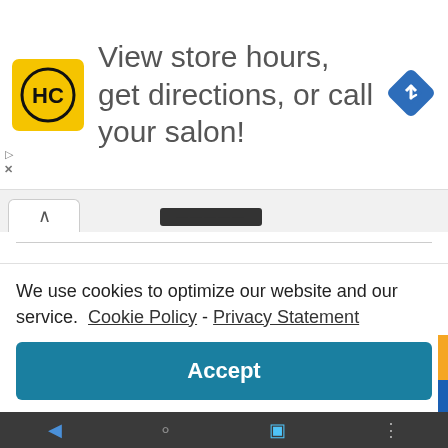[Figure (screenshot): HC (Hair Club) yellow logo square with black HC text inside circle]
View store hours, get directions, or call your salon!
[Figure (illustration): Blue diamond navigation/directions icon with right-turn arrow]
[Figure (screenshot): Browser tab row with up caret and redacted/blurred URL bar]
Phil Hutchens
February 17, 2022 at 7:27 pm
$RUNE
We use cookies to optimize our website and our service.  Cookie Policy - Privacy Statement
Accept